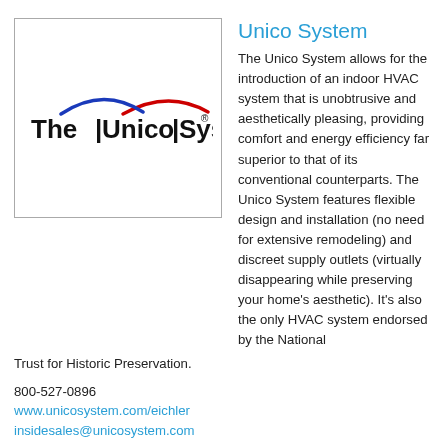[Figure (logo): The Unico System logo inside a bordered box. Logo shows stylized text 'The Unico System' with a blue and red arc above.]
Unico System
The Unico System allows for the introduction of an indoor HVAC system that is unobtrusive and aesthetically pleasing, providing comfort and energy efficiency far superior to that of its conventional counterparts. The Unico System features flexible design and installation (no need for extensive remodeling) and discreet supply outlets (virtually disappearing while preserving your home’s aesthetic). It’s also the only HVAC system endorsed by the National Trust for Historic Preservation.
800-527-0896
www.unicosystem.com/eichler
insidesales@unicosystem.com